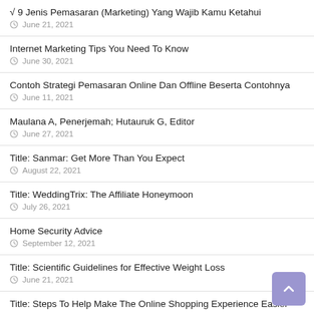√ 9 Jenis Pemasaran (Marketing) Yang Wajib Kamu Ketahui
June 21, 2021
Internet Marketing Tips You Need To Know
June 30, 2021
Contoh Strategi Pemasaran Online Dan Offline Beserta Contohnya
June 11, 2021
Maulana A, Penerjemah; Hutauruk G, Editor
June 27, 2021
Title: Sanmar: Get More Than You Expect
August 22, 2021
Title: WeddingTrix: The Affiliate Honeymoon
July 26, 2021
Home Security Advice
September 12, 2021
Title: Scientific Guidelines for Effective Weight Loss
June 21, 2021
Title: Steps To Help Make The Online Shopping Experience Easier